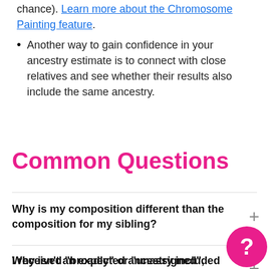chance). Learn more about the Chromosome Painting feature.
Another way to gain confidence in your ancestry estimate is to connect with close relatives and see whether their results also include the same ancestry.
Common Questions
Why is my composition different than the composition for my sibling?
Why isn't an expected ancestry included in my composition?
I received “broadly” or “unassigned”, does